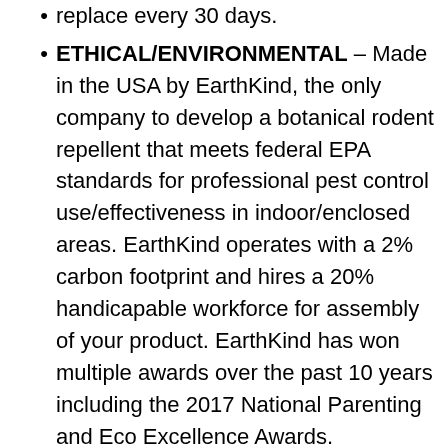replace every 30 days.
ETHICAL/ENVIRONMENTAL – Made in the USA by EarthKind, the only company to develop a botanical rodent repellent that meets federal EPA standards for professional pest control use/effectiveness in indoor/enclosed areas. EarthKind operates with a 2% carbon footprint and hires a 20% handicapable workforce for assembly of your product. EarthKind has won multiple awards over the past 10 years including the 2017 National Parenting and Eco Excellence Awards.
PROTECT YOUR PROPERTY – Use Fresh Cab pouches to repel rodents from basements/attics, pantries, cabins, under hot tubs, garages/sheds, storage